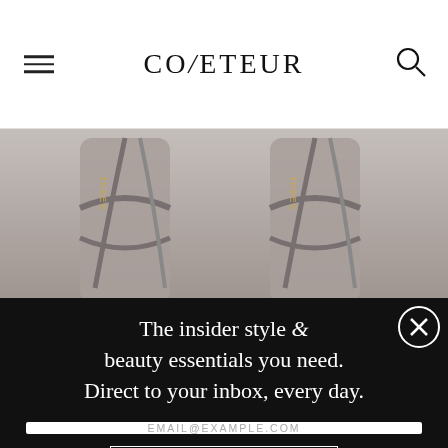COVETEUR
[Figure (photo): Close-up photo of two gray lace-up heeled sandals with TKEES branding on the heel tab, shown from ankle down against a gray background.]
The insider style & beauty essentials you need. Direct to your inbox, every day.
EMAIL@EXAMPLE.COM
SIGN UP